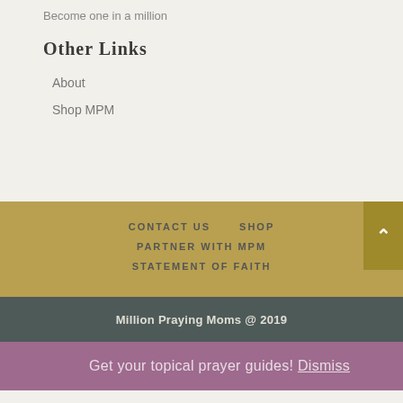Become one in a million
Other Links
About
Shop MPM
CONTACT US   SHOP   PARTNER WITH MPM   STATEMENT OF FAITH
Million Praying Moms @ 2019
Get your topical prayer guides! Dismiss